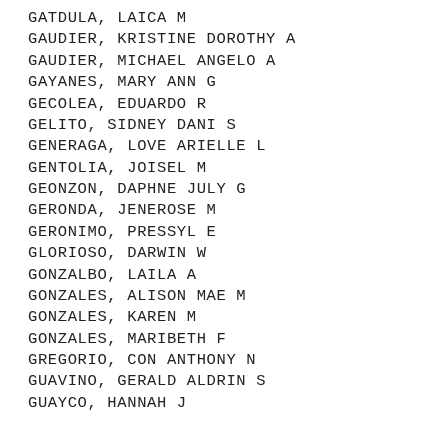GATDULA, LAICA M
GAUDIER, KRISTINE DOROTHY A
GAUDIER, MICHAEL ANGELO A
GAYANES, MARY ANN G
GECOLEA, EDUARDO R
GELITO, SIDNEY DANI S
GENERAGA, LOVE ARIELLE L
GENTOLIA, JOISEL M
GEONZON, DAPHNE JULY G
GERONDA, JENEROSE M
GERONIMO, PRESSYL E
GLORIOSO, DARWIN W
GONZALBO, LAILA A
GONZALES, ALISON MAE M
GONZALES, KAREN M
GONZALES, MARIBETH F
GREGORIO, CON ANTHONY N
GUAVINO, GERALD ALDRIN S
GUAYCO, HANNAH J